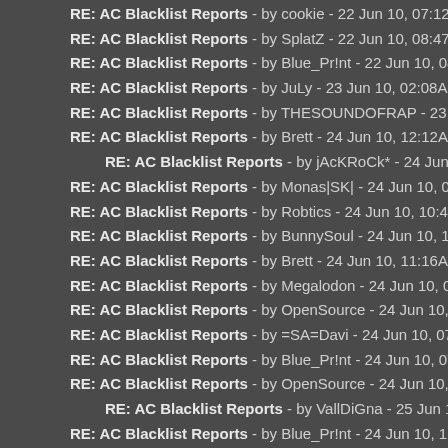RE: AC Blacklist Reports - by cookie - 22 Jun 10, 07:12PM
RE: AC Blacklist Reports - by SplatZ - 22 Jun 10, 08:47PM
RE: AC Blacklist Reports - by Blue_Pr!nt - 22 Jun 10, 08:56PM
RE: AC Blacklist Reports - by JuLy - 23 Jun 10, 02:08AM
RE: AC Blacklist Reports - by THESOUNDOFRAP - 23 Jun 10, 10:55AM
RE: AC Blacklist Reports - by Brett - 24 Jun 10, 12:12AM
RE: AC Blacklist Reports - by jAcKRoCk* - 24 Jun 10, 02:37AM
RE: AC Blacklist Reports - by Monas|SK| - 24 Jun 10, 03:00AM
RE: AC Blacklist Reports - by Robtics - 24 Jun 10, 10:49AM
RE: AC Blacklist Reports - by BunnySoul - 24 Jun 10, 11:13AM
RE: AC Blacklist Reports - by Brett - 24 Jun 10, 11:16AM
RE: AC Blacklist Reports - by Megalodon - 24 Jun 10, 02:37PM
RE: AC Blacklist Reports - by OpenSource - 24 Jun 10, 04:34PM
RE: AC Blacklist Reports - by =SA=Davi - 24 Jun 10, 07:06PM
RE: AC Blacklist Reports - by Blue_Pr!nt - 24 Jun 10, 07:11PM
RE: AC Blacklist Reports - by OpenSource - 24 Jun 10, 10:08PM
RE: AC Blacklist Reports - by VallDiGna - 25 Jun 10, 04:11PM
RE: AC Blacklist Reports - by Blue_Pr!nt - 24 Jun 10, 11:17PM
RE: AC Blacklist Reports - by THESOUNDOFRAP - 25 Jun 10, 03:50AM
RE: AC Blacklist Reports - by Zarjio - 25 Jun 10, 09:03AM
RE: AC Blacklist Reports - by Billybob - 25 Jun 10, 10:41AM
RE: AC Blacklist Reports - by NUKChorris - 25 Jun 10, 03:21PM
RE: AC Blacklist Reports - by RuleMaker - 26 Jun 10, 12:07AM
RE: AC Blacklist Reports - by Elek11tr0 - 26 Jun 10, 08:39PM
RE: AC Blacklist Reports - by Monas|SK| - 26 Jun 10, 11:08PM